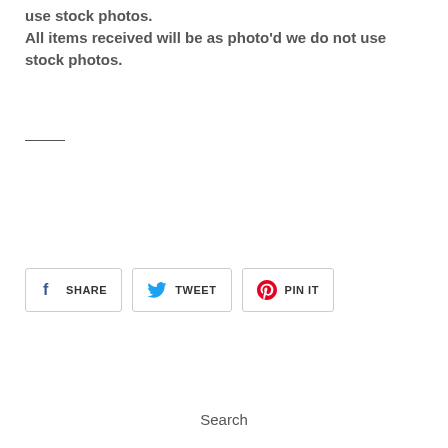use stock photos.
All items received will be as photo'd we do not use stock photos.
Search